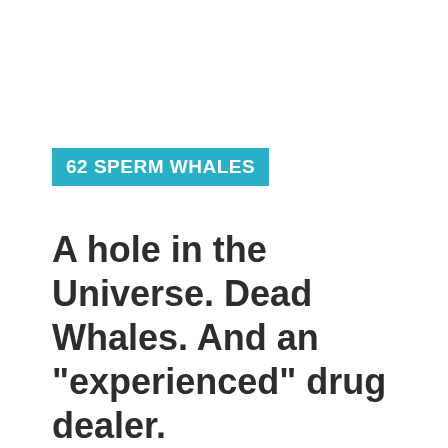62 SPERM WHALES
A hole in the Universe. Dead Whales. And an "experienced" drug dealer.